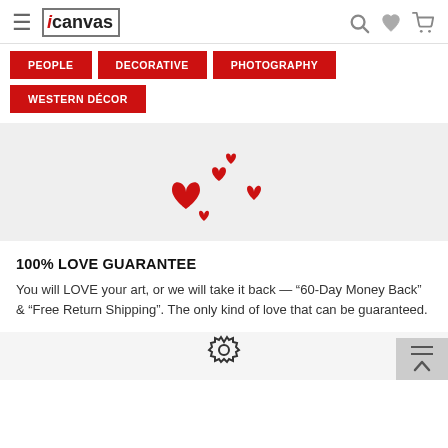[Figure (screenshot): iCanvas website header with hamburger menu, logo, search icon, heart icon, and cart icon]
PEOPLE
DECORATIVE
PHOTOGRAPHY
WESTERN DÉCOR
[Figure (illustration): Scattered red heart icons of various sizes]
100% LOVE GUARANTEE
You will LOVE your art, or we will take it back — “60-Day Money Back” & “Free Return Shipping”. The only kind of love that can be guaranteed.
[Figure (illustration): Partial gear/settings icon visible at bottom center]